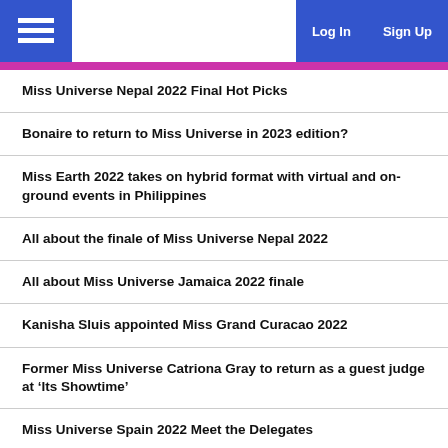Log In | Sign Up
Miss Universe Nepal 2022 Final Hot Picks
Bonaire to return to Miss Universe in 2023 edition?
Miss Earth 2022 takes on hybrid format with virtual and on-ground events in Philippines
All about the finale of Miss Universe Nepal 2022
All about Miss Universe Jamaica 2022 finale
Kanisha Sluis appointed Miss Grand Curacao 2022
Former Miss Universe Catriona Gray to return as a guest judge at ‘Its Showtime’
Miss Universe Spain 2022 Meet the Delegates
Miriam Xorlasi Tordzeagbo crowned Miss Ghana 2022
Miss Universe Australia 2022 finale details revealed